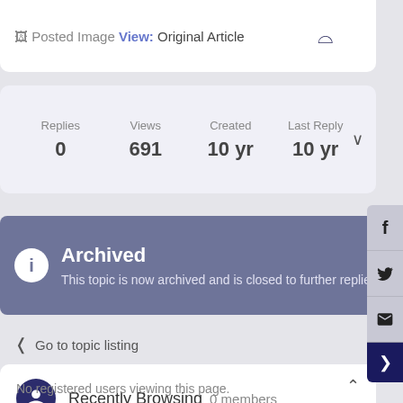Posted Image View: Original Article
| Replies | Views | Created | Last Reply |
| --- | --- | --- | --- |
| 0 | 691 | 10 yr | 10 yr |
Archived
This topic is now archived and is closed to further replies
< Go to topic listing
Recently Browsing 0 members
No registered users viewing this page.